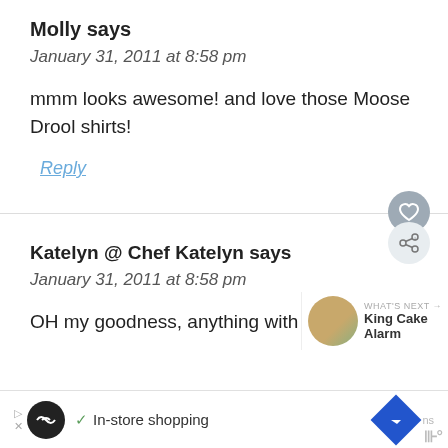Molly says
January 31, 2011 at 8:58 pm
mmm looks awesome! and love those Moose Drool shirts!
Reply
Katelyn @ Chef Katelyn says
January 31, 2011 at 8:58 pm
OH my goodness, anything with dark leafy
In-store shopping